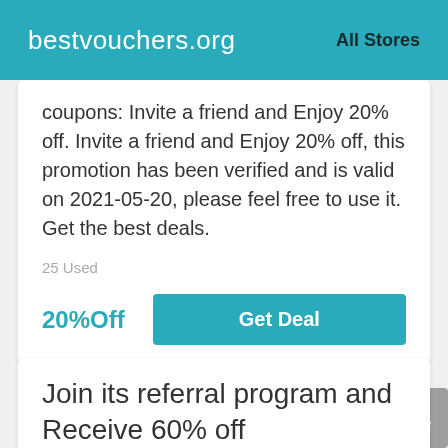bestvouchers.org   All Stores
coupons: Invite a friend and Enjoy 20% off. Invite a friend and Enjoy 20% off, this promotion has been verified and is valid on 2021-05-20, please feel free to use it. Get the best deals.
25 Used
20%Off
Get Deal
Join its referral program and Receive 60% off